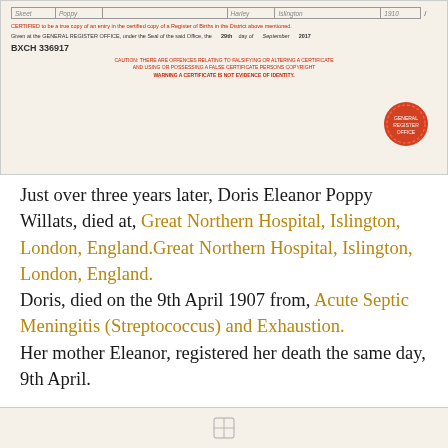[Figure (photo): Partial birth certificate image showing a register table with handwritten entries, certified copy text in red, reference number BXCH 336917, date September 2017, red caution text, and an official red seal stamp from the General Register Office.]
Just over three years later, Doris Eleanor Poppy Willats, died at, Great Northern Hospital, Islington, London, England.Great Northern Hospital, Islington, London, England.
Doris, died on the 9th April 1907 from, Acute Septic Meningitis (Streptococcus) and Exhaustion.
Her mother Eleanor, registered her death the same day, 9th April.
[Figure (photo): Bottom portion of another official certificate document, partially visible.]